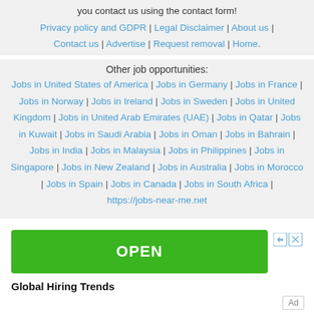you contact us using the contact form!
Privacy policy and GDPR | Legal Disclaimer | About us | Contact us | Advertise | Request removal | Home.
Other job opportunities:
Jobs in United States of America | Jobs in Germany | Jobs in France | Jobs in Norway | Jobs in Ireland | Jobs in Sweden | Jobs in United Kingdom | Jobs in United Arab Emirates (UAE) | Jobs in Qatar | Jobs in Kuwait | Jobs in Saudi Arabia | Jobs in Oman | Jobs in Bahrain | Jobs in India | Jobs in Malaysia | Jobs in Philippines | Jobs in Singapore | Jobs in New Zealand | Jobs in Australia | Jobs in Morocco | Jobs in Spain | Jobs in Canada | Jobs in South Africa | https://jobs-near-me.net
[Figure (screenshot): Green OPEN button advertisement with ad controls]
Global Hiring Trends
Ad